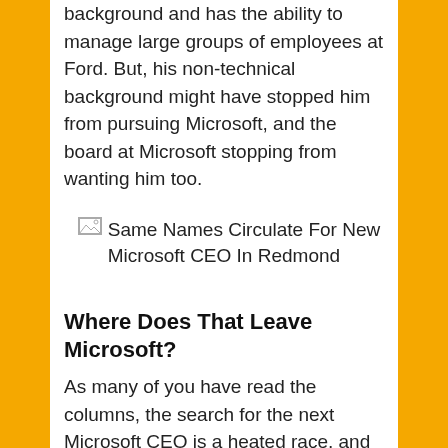background and has the ability to manage large groups of employees at Ford. But, his non-technical background might have stopped him from pursuing Microsoft, and the board at Microsoft stopping from wanting him too.
[Figure (illustration): Broken image placeholder with caption: Same Names Circulate For New Microsoft CEO In Redmond]
Where Does That Leave Microsoft?
As many of you have read the columns, the search for the next Microsoft CEO is a heated race, and has a couple of frontrunners. The names of Tony Bates, Satya Nadella, and a few others have